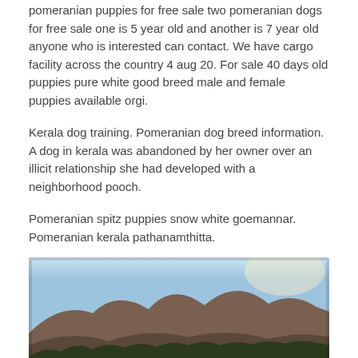pomeranian puppies for free sale two pomeranian dogs for free sale one is 5 year old and another is 7 year old anyone who is interested can contact. We have cargo facility across the country 4 aug 20. For sale 40 days old puppies pure white good breed male and female puppies available orgi.
Kerala dog training. Pomeranian dog breed information. A dog in kerala was abandoned by her owner over an illicit relationship she had developed with a neighborhood pooch.
Pomeranian spitz puppies snow white goemannar. Pomeranian kerala pathanamthitta.
[Figure (photo): Outdoor photograph of a fluffy white cat with blue eyes sitting in tall green grass in the foreground, with a rocky mountain and tree line in the background under a light blue sky at dusk or dawn.]